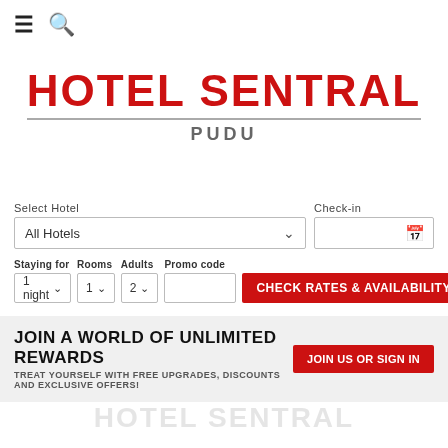[Figure (screenshot): Navigation bar with hamburger menu icon and search icon]
Hotel Sentral
PUDU
Select Hotel: All Hotels | Check-in
Staying for: 1 night | Rooms: 1 | Adults: 2 | Promo code | CHECK RATES & AVAILABILITY
JOIN A WORLD OF UNLIMITED REWARDS
TREAT YOURSELF WITH FREE UPGRADES, DISCOUNTS AND EXCLUSIVE OFFERS!
JOIN US OR SIGN IN